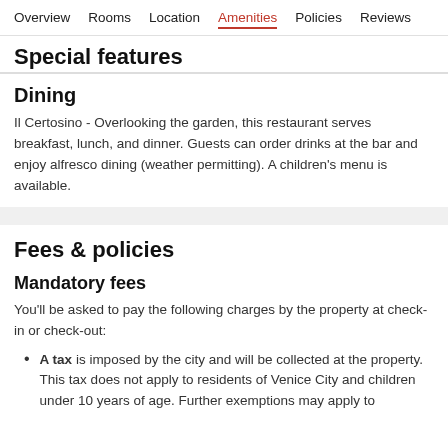Overview  Rooms  Location  Amenities  Policies  Reviews
Special features
Dining
Il Certosino - Overlooking the garden, this restaurant serves breakfast, lunch, and dinner. Guests can order drinks at the bar and enjoy alfresco dining (weather permitting). A children's menu is available.
Fees & policies
Mandatory fees
You'll be asked to pay the following charges by the property at check-in or check-out:
A tax is imposed by the city and will be collected at the property. This tax does not apply to residents of Venice City and children under 10 years of age. Further exemptions may apply to